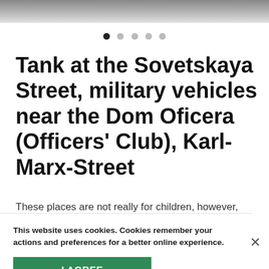[Figure (photo): Top image strip showing a blurred/cropped photograph, grey tones]
[Figure (other): Carousel pagination dots: 5 dots, first filled/active, rest empty]
Tank at the Sovetskaya Street, military vehicles near the Dom Oficera (Officers' Club), Karl-Marx-Street
These places are not really for children, however, [favourite] [ces for] [er your] [xperience.]
This website uses cookies. Cookies remember your actions and preferences for a better online experience.
I AGREE